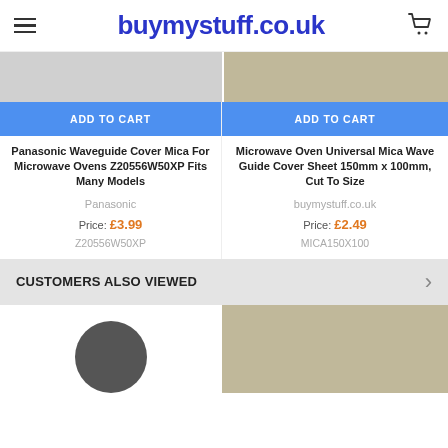buymystuff.co.uk
[Figure (photo): Two product images partially visible at the top - left shows a white microwave oven accessory, right shows a beige/tan product]
ADD TO CART (left product)
ADD TO CART (right product)
Panasonic Waveguide Cover Mica For Microwave Ovens Z20556W50XP Fits Many Models
Microwave Oven Universal Mica Wave Guide Cover Sheet 150mm x 100mm, Cut To Size
Panasonic
buymystuff.co.uk
Price: £3.99
Price: £2.49
Z20556W50XP
MICA150X100
CUSTOMERS ALSO VIEWED
[Figure (photo): Bottom product images - left shows a circular black item, right shows a beige/grey product image]